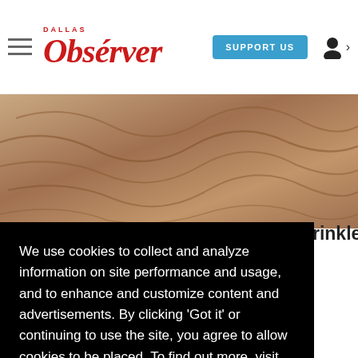Dallas Observer — SUPPORT US
[Figure (photo): Close-up photo of textured brown surface (possibly walnut or brain coral) visible behind the cookie consent overlay]
...crazy
We use cookies to collect and analyze information on site performance and usage, and to enhance and customize content and advertisements. By clicking 'Got it' or continuing to use the site, you agree to allow cookies to be placed. To find out more, visit our cookies policy and our privacy policy.
Got it!